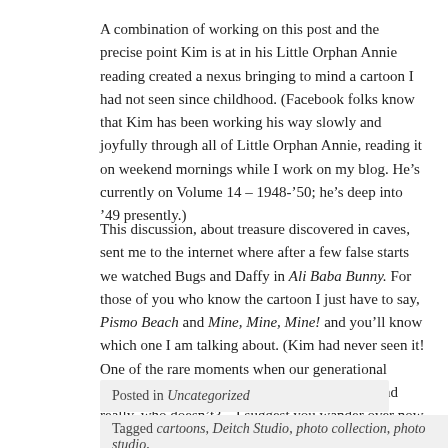A combination of working on this post and the precise point Kim is at in his Little Orphan Annie reading created a nexus bringing to mind a cartoon I had not seen since childhood. (Facebook folks know that Kim has been working his way slowly and joyfully through all of Little Orphan Annie, reading it on weekend mornings while I work on my blog. He's currently on Volume 14 – 1948-'50; he's deep into '49 presently.)
This discussion, about treasure discovered in caves, sent me to the internet where after a few false starts we watched Bugs and Daffy in Ali Baba Bunny. For those of you who know the cartoon I just have to say, Pismo Beach and Mine, Mine, Mine! and you'll know which one I am talking about. (Kim had never seen it! One of the rare moments when our generational difference is showing.) If you need a giggle – and really, who doesn't? – I suggest you wander over now and watch it. (At the time of writing it was found here.)
Posted in Uncategorized
Tagged cartoons, Deitch Studio, photo collection, photo studio,